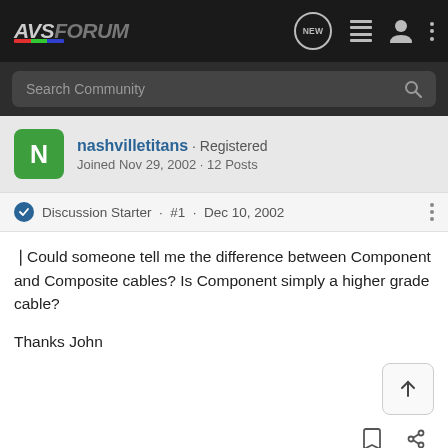AVSForum
Search Community
nashvilletitans · Registered
Joined Nov 29, 2002 · 12 Posts
Discussion Starter · #1 · Dec 10, 2002
Could someone tell me the difference between Component and Composite cables? Is Component simply a higher grade cable?

Thanks John
Josh Z · Registered